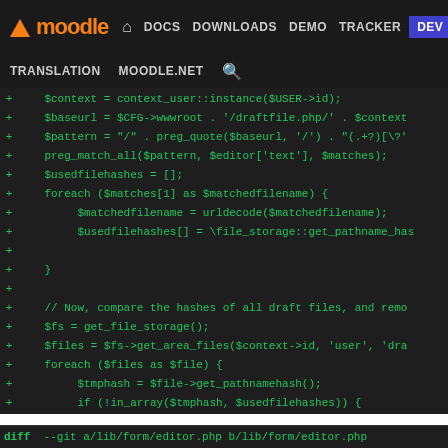moodle | DOCS DOWNLOADS DEMO TRACKER DEV | TRANSLATION MOODLE.NET
[Figure (screenshot): Moodle developer site navigation bar with logo and nav links including DOCS, DOWNLOADS, DEMO, TRACKER, DEV (highlighted in blue), TRANSLATION, MOODLE.NET, and search icon]
+     $context = context_user::instance($USER->id);
+     $baseurl = $CFG->wwwroot . '/draftfile.php/' . $context
+     $pattern = "/" . preg_quote($baseurl, '/') . "(.+?)[\?"
+     preg_match_all($pattern, $editor['text'], $matches);
+     $usedfilehashes = [];
+     foreach ($matches[1] as $matchedfilename) {
+           $matchedfilename = urldecode($matchedfilename);
+           $usedfilehashes[] = \file_storage::get_pathname_has
+
+     }
+
+     // Now, compare the hashes of all draft files, and remo
+     $fs = get_file_storage();
+     $files = $fs->get_area_files($context->id, 'user', 'dra
+     foreach ($files as $file) {
+           $tmphash = $file->get_pathnamehash();
+           if (!in_array($tmphash, $usedfilehashes)) {
+                 $file->delete();
+           }
+     }
+}
+
 /**
  * Saves files from a draft file area to a real one (mergin
  * Can rewrite URLs in some content at the same time if des
diff --git a/lib/form/editor.php b/lib/form/editor.php